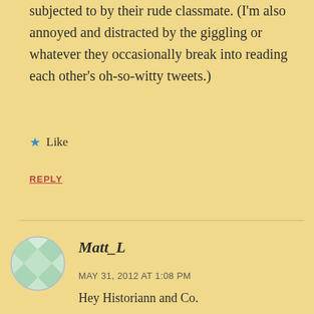subjected to by their rude classmate. (I'm also annoyed and distracted by the giggling or whatever they occasionally break into reading each other's oh-so-witty tweets.)
★ Like
REPLY
Matt_L
MAY 31, 2012 AT 1:08 PM
Hey Historiann and Co.